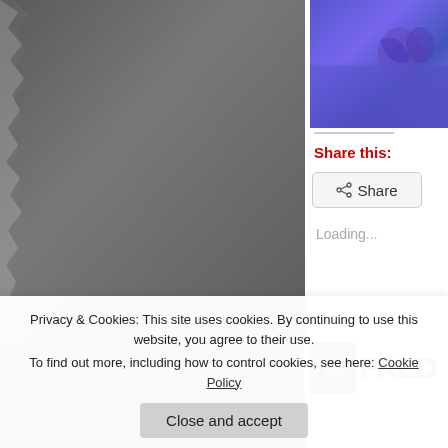[Figure (photo): Large grayscale photo with torn/ragged left edge showing a dark gray surface, occupying the left portion of the page]
[Figure (photo): Small thumbnail image in upper right with blue/purple tones showing an indistinct object or butterfly]
Share this:
[Figure (other): Share button with share icon]
Loading...
[Figure (photo): Small cat thumbnail next to large red letters FRED at bottom right]
Privacy & Cookies: This site uses cookies. By continuing to use this website, you agree to their use.
To find out more, including how to control cookies, see here: Cookie Policy
Close and accept